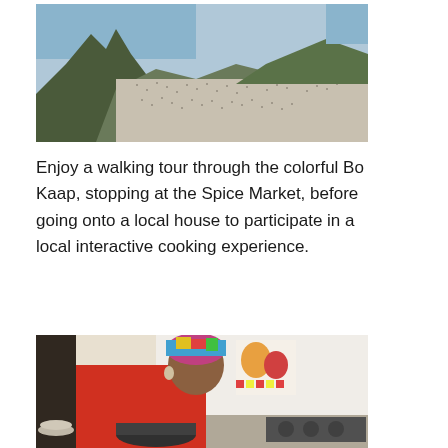[Figure (photo): Aerial view of Cape Town with Lion's Head mountain, city below, and ocean in background]
Enjoy a walking tour through the colorful Bo Kaap, stopping at the Spice Market, before going onto a local house to participate in a local interactive cooking experience.
[Figure (photo): A woman wearing a colorful head wrap and red top cooking in a kitchen, participating in an interactive cooking experience]